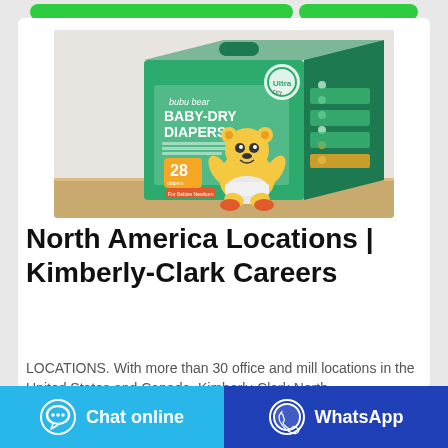[Figure (photo): Product photo of bubu bear Baby-Dry Diapers green box with 28 count, featuring a cartoon bear character, sitting on a wooden surface against a light background.]
North America Locations | Kimberly-Clark Careers
LOCATIONS. With more than 30 office and mill locations in the United States and Canada, Kimberly-Clark North
[Figure (infographic): Chat online button (light blue) with speech bubble icon]
[Figure (infographic): WhatsApp button (dark blue) with WhatsApp icon]